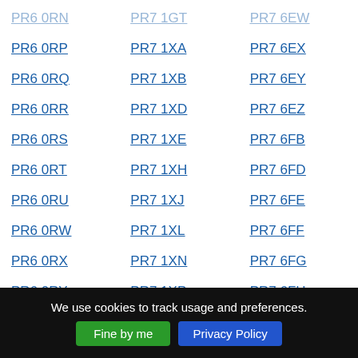PR6 0RN | PR7 1GT | PR7 6EW
PR6 0RP | PR7 1XA | PR7 6EX
PR6 0RQ | PR7 1XB | PR7 6EY
PR6 0RR | PR7 1XD | PR7 6EZ
PR6 0RS | PR7 1XE | PR7 6FB
PR6 0RT | PR7 1XH | PR7 6FD
PR6 0RU | PR7 1XJ | PR7 6FE
PR6 0RW | PR7 1XL | PR7 6FF
PR6 0RX | PR7 1XN | PR7 6FG
PR6 0RY | PR7 1XP | PR7 6FH
PR6 0SA | PR7 1XR | PR7 6FJ
PR6 0SB | PR7 1XS | PR7 6FN
PR6 0SD | PR7 1XT | PR7 6FP
We use cookies to track usage and preferences.
Fine by me | Privacy Policy